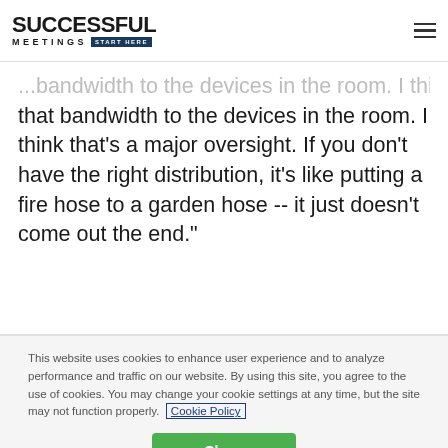SUCCESSFUL MEETINGS START HERE
that bandwidth to the devices in the room. I think that's a major oversight. If you don't have the right distribution, it's like putting a fire hose to a garden hose -- it just doesn't come out the end."
This website uses cookies to enhance user experience and to analyze performance and traffic on our website. By using this site, you agree to the use of cookies. You may change your cookie settings at any time, but the site may not function properly. Cookie Policy
Close